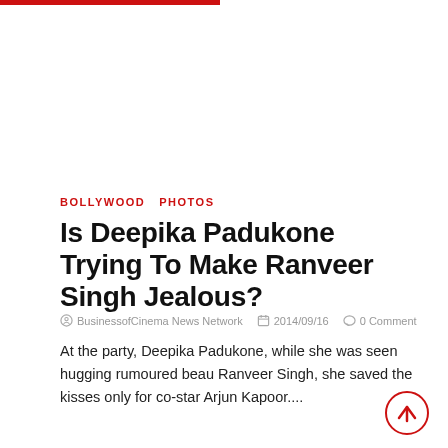BOLLYWOOD  PHOTOS
Is Deepika Padukone Trying To Make Ranveer Singh Jealous?
BusinessofCinema News Network   2014/09/16   0 Comment
At the party, Deepika Padukone, while she was seen hugging rumoured beau Ranveer Singh, she saved the kisses only for co-star Arjun Kapoor....
Read More